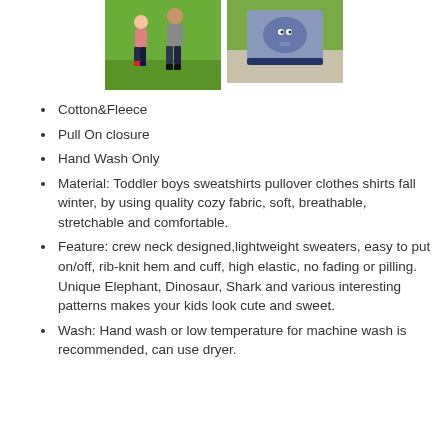[Figure (photo): Two product photos side by side: left photo shows two children standing on grass wearing the sweatshirt; right photo shows a close-up of a child wearing a grey elephant-design sweatshirt.]
Cotton&Fleece
Pull On closure
Hand Wash Only
Material: Toddler boys sweatshirts pullover clothes shirts fall winter, by using quality cozy fabric, soft, breathable, stretchable and comfortable.
Feature: crew neck designed,lightweight sweaters, easy to put on/off, rib-knit hem and cuff, high elastic, no fading or pilling. Unique Elephant, Dinosaur, Shark and various interesting patterns makes your kids look cute and sweet.
Wash: Hand wash or low temperature for machine wash is recommended, can use dryer.